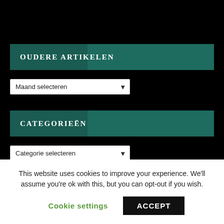OUDERE ARTIKELEN
Maand selecteren
CATEGORIEËN
Categorie selecteren
Privacybeleid
Algemene voorwaarden
This website uses cookies to improve your experience. We'll assume you're ok with this, but you can opt-out if you wish.
Cookie settings
ACCEPT